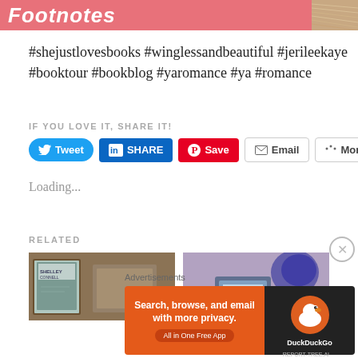[Figure (illustration): Pink/red header banner with italic bold white text 'Footnotes' and a partial book image on the right]
#shejustlovesbooks #winglessandbeautiful #jerileekaye #booktour #bookblog #yaromance #ya #romance
IF YOU LOVE IT, SHARE IT!
[Figure (screenshot): Social sharing buttons row: Tweet (blue), SHARE (LinkedIn dark blue), Save (Pinterest red), Email (outlined), More (outlined)]
Loading...
RELATED
[Figure (photo): Two related article thumbnail images side by side showing book covers and flat lay photos]
[Figure (screenshot): Advertisement banner: DuckDuckGo - Search, browse, and email with more privacy. All in One Free App]
Advertisements